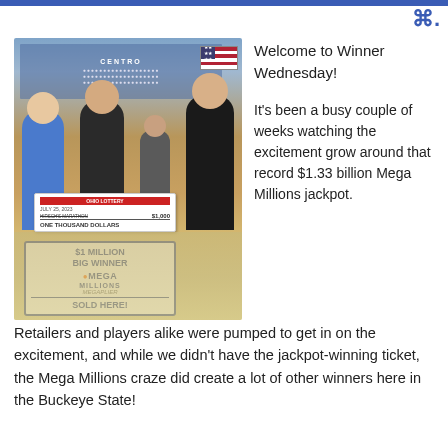[Figure (photo): Photo of four people (store employees and customers) holding a large check for ONE THOUSAND DOLLARS and a $1 Million Big Winner Mega Millions sign inside a convenience store with an American flag in the background.]
Welcome to Winner Wednesday!
It's been a busy couple of weeks watching the excitement grow around that record $1.33 billion Mega Millions jackpot.
Retailers and players alike were pumped to get in on the excitement, and while we didn't have the jackpot-winning ticket, the Mega Millions craze did create a lot of other winners here in the Buckeye State!